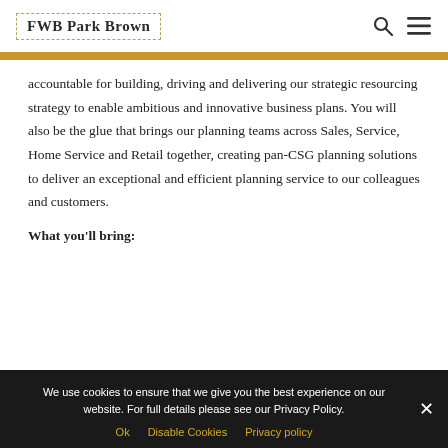FWB Park Brown
accountable for building, driving and delivering our strategic resourcing strategy to enable ambitious and innovative business plans. You will also be the glue that brings our planning teams across Sales, Service, Home Service and Retail together, creating pan-CSG planning solutions to deliver an exceptional and efficient planning service to our colleagues and customers.
What you'll bring:
We use cookies to ensure that we give you the best experience on our website. For full details please see our Privacy Policy.
Ok   Disable Cookies   Privacy policy